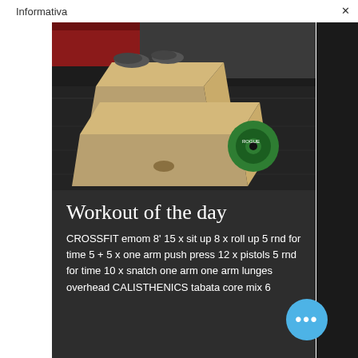Informativa
[Figure (photo): Photo of wooden plyo boxes on a gym floor with black rubber flooring, a person's feet visible at the top jumping onto the box, and a green weight plate on the floor in the background.]
Workout of the day
CROSSFIT emom 8' 15 x sit up 8 x roll up 5 rnd for time 5 + 5 x one arm push press 12 x pistols 5 rnd for time 10 x snatch one arm one arm lunges overhead CALISTHENICS tabata core mix 6